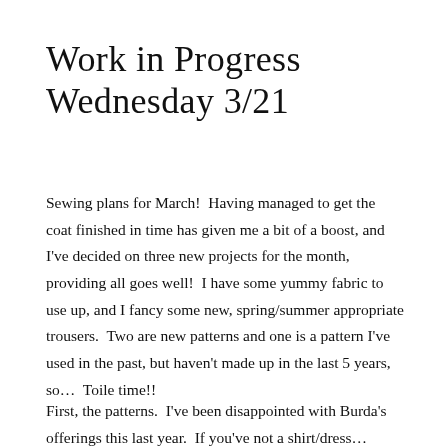Work in Progress Wednesday 3/21
Sewing plans for March!  Having managed to get the coat finished in time has given me a bit of a boost, and I've decided on three new projects for the month, providing all goes well!  I have some yummy fabric to use up, and I fancy some new, spring/summer appropriate trousers.  Two are new patterns and one is a pattern I've used in the past, but haven't made up in the last 5 years, so…  Toile time!!
First, the patterns.  I've been disappointed with Burda's offerings this last year.  If you've not a shirt/dress…